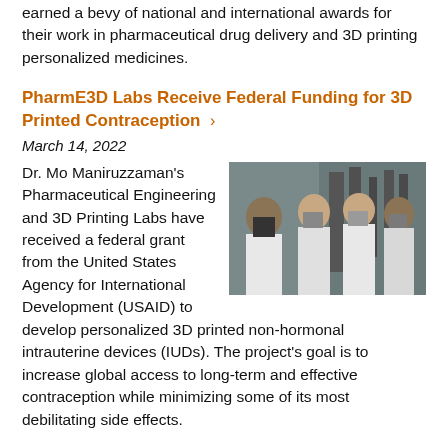earned a bevy of national and international awards for their work in pharmaceutical drug delivery and 3D printing personalized medicines.
PharmE3D Labs Receive Federal Funding for 3D Printed Contraception >
March 14, 2022
Dr. Mo Maniruzzaman's Pharmaceutical Engineering and 3D Printing Labs have received a federal grant from the United States Agency for International Development (USAID) to develop personalized 3D printed non-hormonal intrauterine devices (IUDs). The project's goal is to increase global access to long-term and effective contraception while minimizing some of its most debilitating side effects.
[Figure (photo): Four researchers in white lab coats and face masks standing in a laboratory setting with equipment in the background.]
Moczygemba and Wash Earn 2022 Kloesel Grant
January 11, 2022
[Figure (photo): Partial view of two people, the beginning of a photo associated with the Moczygemba and Wash article.]